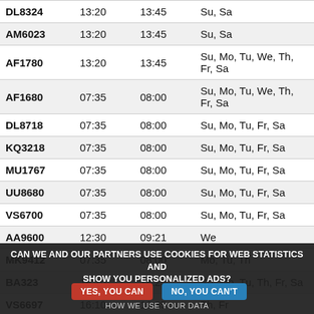| Flight | Dep | Arr | Days |
| --- | --- | --- | --- |
| DL8324 | 13:20 | 13:45 | Su, Sa |
| AM6023 | 13:20 | 13:45 | Su, Sa |
| AF1780 | 13:20 | 13:45 | Su, Mo, Tu, We, Th, Fr, Sa |
| AF1680 | 07:35 | 08:00 | Su, Mo, Tu, We, Th, Fr, Sa |
| DL8718 | 07:35 | 08:00 | Su, Mo, Tu, Fr, Sa |
| KQ3218 | 07:35 | 08:00 | Su, Mo, Tu, Fr, Sa |
| MU1767 | 07:35 | 08:00 | Su, Mo, Tu, Fr, Sa |
| UU8680 | 07:35 | 08:00 | Su, Mo, Tu, Fr, Sa |
| VS6700 | 07:35 | 08:00 | Su, Mo, Tu, Fr, Sa |
| AA9600 | 12:30 | 09:21 | We |
| MK9412 | 07:35 | 08:00 | Mo, Tu, Th |
| BA323 | 18:10 | 18:25 | Su, Mo, Tu, Th, Fr, Sa |
| VS6697 | 16:10 | 16:35 | Th, Fr |
| KQ3058 | 16:10 | 16:35 | Th, Fr |
| G35092 | 16:10 | 16:35 | Th, Fr |
| MK9414 | 13:20 | 13:45 | Su, Mo, Tu, We, Th, Fr |
CAN WE AND OUR PARTNERS USE COOKIES FOR WEB STATISTICS AND SHOW YOU PERSONALIZED ADS?  YES, YOU CAN  NO, YOU CAN'T  HOW WE USE YOUR DATA